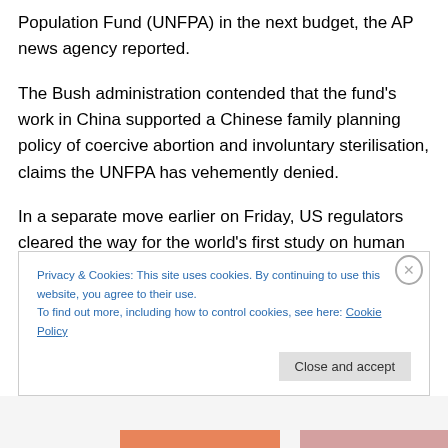Population Fund (UNFPA) in the next budget, the AP news agency reported.
The Bush administration contended that the fund's work in China supported a Chinese family planning policy of coercive abortion and involuntary sterilisation, claims the UNFPA has vehemently denied.
In a separate move earlier on Friday, US regulators cleared the way for the world's first study on human embryonic stem cell therapy.
Privacy & Cookies: This site uses cookies. By continuing to use this website, you agree to their use.
To find out more, including how to control cookies, see here: Cookie Policy